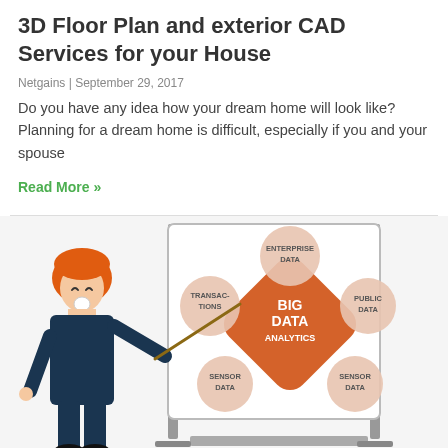3D Floor Plan and exterior CAD Services for your House
Netgains | September 29, 2017
Do you have any idea how your dream home will look like? Planning for a dream home is difficult, especially if you and your spouse
Read More »
[Figure (illustration): Infographic showing a cartoon person pointing at a billboard with a Big Data Analytics diagram. The diagram shows BIG DATA ANALYTICS in the center (orange diamond shape) surrounded by circles labeled: ENTERPRISE DATA (top), PUBLIC DATA (right), SENSOR DATA (bottom right), SENSOR DATA (bottom left), TRANSACTIONS (left).]
What is Big Data Analytics?